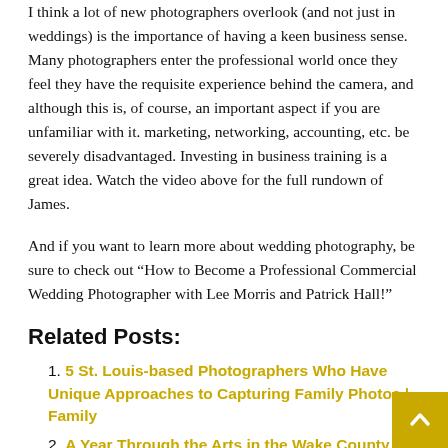I think a lot of new photographers overlook (and not just in weddings) is the importance of having a keen business sense. Many photographers enter the professional world once they feel they have the requisite experience behind the camera, and although this is, of course, an important aspect if you are unfamiliar with it. marketing, networking, accounting, etc. be severely disadvantaged. Investing in business training is a great idea. Watch the video above for the full rundown of James.
And if you want to learn more about wedding photography, be sure to check out “How to Become a Professional Commercial Wedding Photographer with Lee Morris and Patrick Hall!”
Related Posts:
5 St. Louis-based Photographers Who Have Unique Approaches to Capturing Family Photos | Family
A Year Through the Arts in the Wake County Photo Exhibit at the Betty Ray McCain Art Gallery
Harlem photographer visits Columbia Lounge first...